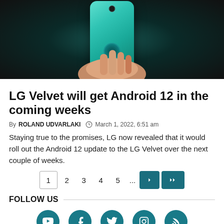[Figure (photo): Hand holding a teal/cyan LG Velvet smartphone, showing the back of the device with camera module, against a dark background]
LG Velvet will get Android 12 in the coming weeks
By ROLAND UDVARLAKI  March 1, 2022, 6:51 am
Staying true to the promises, LG now revealed that it would roll out the Android 12 update to the LG Velvet over the next couple of weeks.
1  2  3  4  5  ...  >  >>
FOLLOW US